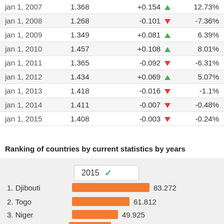| Date | Value | Change | % Change |
| --- | --- | --- | --- |
| jan 1, 2007 | 1.368 | +0.154 ▲ | 12.73% |
| jan 1, 2008 | 1.268 | -0.101 ▼ | -7.36% |
| jan 1, 2009 | 1.349 | +0.081 ▲ | 6.39% |
| jan 1, 2010 | 1.457 | +0.108 ▲ | 8.01% |
| jan 1, 2011 | 1.365 | -0.092 ▼ | -6.31% |
| jan 1, 2012 | 1.434 | +0.069 ▲ | 5.07% |
| jan 1, 2013 | 1.418 | -0.016 ▼ | -1.1% |
| jan 1, 2014 | 1.411 | -0.007 ▼ | -0.48% |
| jan 1, 2015 | 1.408 | -0.003 ▼ | -0.24% |
Ranking of countries by current statistics by years
[Figure (bar-chart): Ranking 2015]